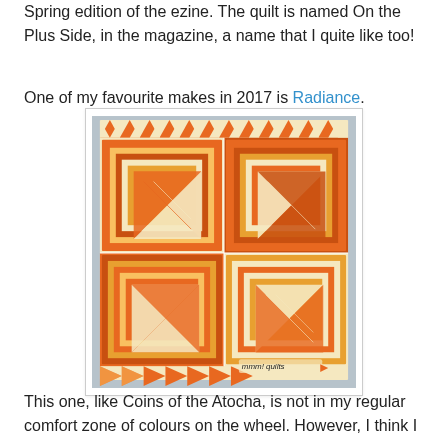Spring edition of the ezine. The quilt is named On the Plus Side, in the magazine, a name that I quite like too!
One of my favourite makes in 2017 is Radiance.
[Figure (photo): A colourful orange and cream quilt named Radiance, displayed hanging outdoors on a fence. The quilt features large square blocks with diagonal half-square triangle patterns in shades of orange, yellow, and cream, with a border of flying geese triangles in orange and cream. A small label reads 'mmm! quilts'.]
This one, like Coins of the Atocha, is not in my regular comfort zone of colours on the wheel. However, I think I